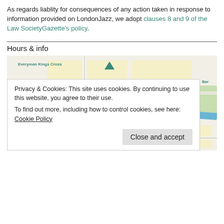As regards liablity for consequences of any action taken in response to information provided on LondonJazz, we adopt clauses 8 and 9 of the Law SocietyGazette's policy.
Hours & info
[Figure (map): Google Maps view of Kings Cross / Camley Street area in London, showing landmarks: Everyman Kings Cross, Coal Drops Yard, Camley Street Natural Park, Pancras Square, ClueQuest - Escape Room London, Copenhagen St, Carnegie St, London Canal Museum, A5203 road.]
Privacy & Cookies: This site uses cookies. By continuing to use this website, you agree to their use.
To find out more, including how to control cookies, see here: Cookie Policy